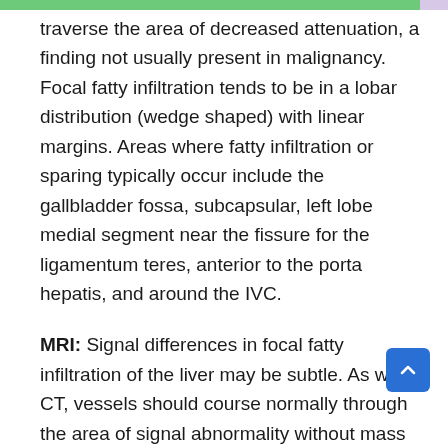traverse the area of decreased attenuation, a finding not usually present in malignancy. Focal fatty infiltration tends to be in a lobar distribution (wedge shaped) with linear margins. Areas where fatty infiltration or sparing typically occur include the gallbladder fossa, subcapsular, left lobe medial segment near the fissure for the ligamentum teres, anterior to the porta hepatis, and around the IVC.
MRI: Signal differences in focal fatty infiltration of the liver may be subtle. As with CT, vessels should course normally through the area of signal abnormality without mass effect on adjacent structures. MRI with fat suppression is more